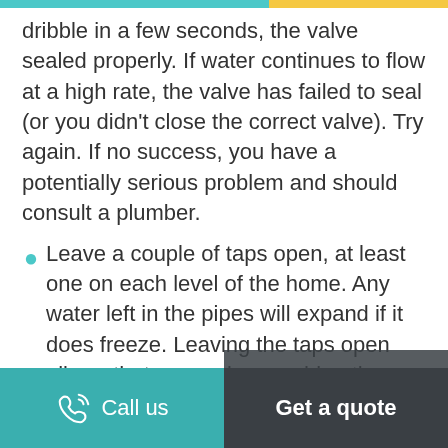dribble in a few seconds, the valve sealed properly. If water continues to flow at a high rate, the valve has failed to seal (or you didn't close the correct valve). Try again. If no success, you have a potentially serious problem and should consult a plumber.
Leave a couple of taps open, at least one on each level of the home. Any water left in the pipes will expand if it does freeze. Leaving the taps open allows that expansion, pushing the water toward the open taps so it flows harmlessly into the sinks.
Call us | Get a quote